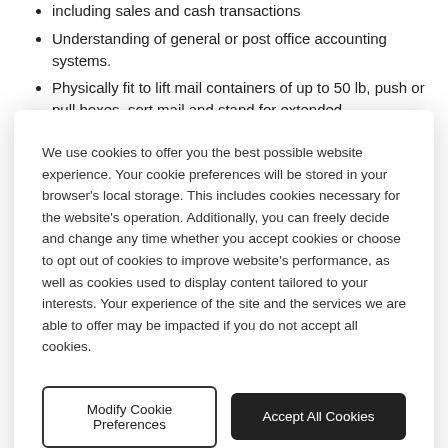including sales and cash transactions
Understanding of general or post office accounting systems.
Physically fit to lift mail containers of up to 50 lb, push or pull boxes, sort mail and stand for extended
We use cookies to offer you the best possible website experience. Your cookie preferences will be stored in your browser's local storage. This includes cookies necessary for the website's operation. Additionally, you can freely decide and change any time whether you accept cookies or choose to opt out of cookies to improve website's performance, as well as cookies used to display content tailored to your interests. Your experience of the site and the services we are able to offer may be impacted if you do not accept all cookies.
Modify Cookie Preferences
Accept All Cookies
This position may be considered a Safety Sensitive